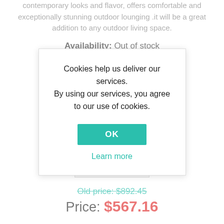contemporary looks and flavor, offers comfortable and exceptionally stunning outdoor lounging .it will be a great addition to any outdoor living space.
Availability: Out of stock
Notify me when available
[Figure (screenshot): Cookie consent modal dialog with text 'Cookies help us deliver our services. By using our services, you agree to our use of cookies.' with an OK button and Learn more link]
Black (dropdown)
Old price: $892.45
Price: $567.16